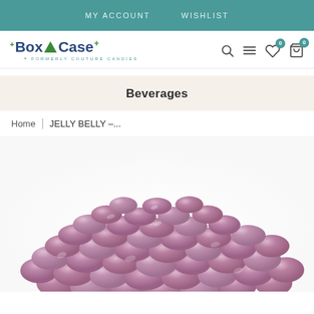MY ACCOUNT   WISHLIST
[Figure (logo): Box N Case logo with triangle icon, formerly Couture Candies]
Beverages
Home | JELLY BELLY -...
[Figure (photo): Pile of purple/mauve pearlescent jelly beans (Jelly Belly brand) on white background]